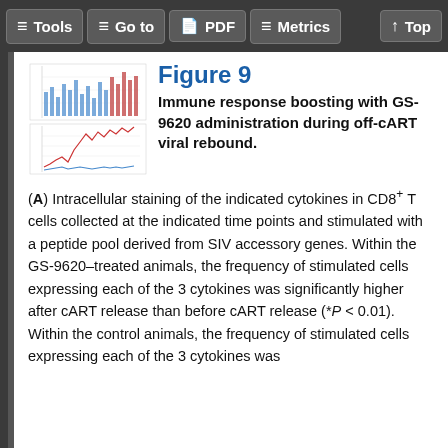Tools | Go to | PDF | Metrics | Top
[Figure (other): Two small thumbnail scientific figures showing flow cytometry or cytokine expression plots with colored lines on white background]
Figure 9
Immune response boosting with GS-9620 administration during off-cART viral rebound. (A) Intracellular staining of the indicated cytokines in CD8+ T cells collected at the indicated time points and stimulated with a peptide pool derived from SIV accessory genes. Within the GS-9620–treated animals, the frequency of stimulated cells expressing each of the 3 cytokines was significantly higher after cART release than before cART release (*P < 0.01). Within the control animals, the frequency of stimulated cells expressing each of the 3 cytokines was